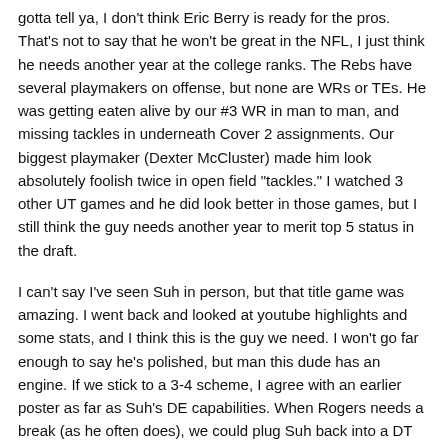gotta tell ya, I don't think Eric Berry is ready for the pros. That's not to say that he won't be great in the NFL, I just think he needs another year at the college ranks. The Rebs have several playmakers on offense, but none are WRs or TEs. He was getting eaten alive by our #3 WR in man to man, and missing tackles in underneath Cover 2 assignments. Our biggest playmaker (Dexter McCluster) made him look absolutely foolish twice in open field "tackles." I watched 3 other UT games and he did look better in those games, but I still think the guy needs another year to merit top 5 status in the draft.
I can't say I've seen Suh in person, but that title game was amazing. I went back and looked at youtube highlights and some stats, and I think this is the guy we need. I won't go far enough to say he's polished, but man this dude has an engine. If we stick to a 3-4 scheme, I agree with an earlier poster as far as Suh's DE capabilities. When Rogers needs a break (as he often does), we could plug Suh back into a DT role.
Still, since we are going to think, we are still a student of less of f...